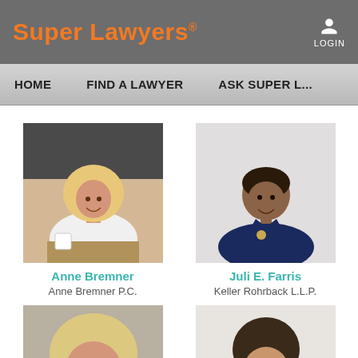Super Lawyers® | LOGIN
HOME  FIND A LAWYER  ASK SUPER L...
[Figure (photo): Professional photo of Anne Bremner, a blonde woman in a white outfit smiling at a table]
Anne Bremner
Anne Bremner P.C.
[Figure (photo): Professional photo of Juli E. Farris, a woman with short hair in a navy blazer smiling]
Juli E. Farris
Keller Rohrback L.L.P.
[Figure (photo): Partial photo of a third lawyer at the bottom left, cropped]
[Figure (photo): Partial photo of a fourth lawyer at the bottom right, cropped]